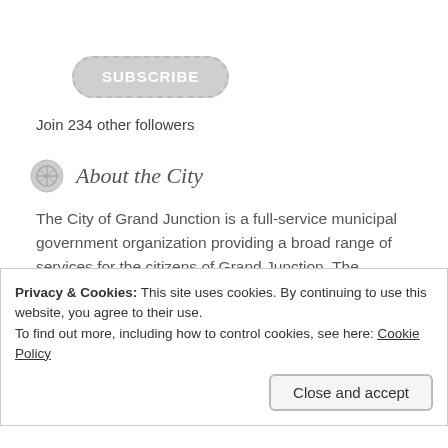[Figure (other): Subscribe button — rounded rectangle with dashed border, gray filled background, bold white uppercase text 'SUBSCRIBE']
Join 234 other followers
About the City
The City of Grand Junction is a full-service municipal government organization providing a broad range of services for the citizens of Grand Junction. The organization, which employs over 600 full-time employees, is comprised of ten departments: Public Works, Utilities, Police, Fire, Parks and Recreation, Community Development, Finance, Human
Privacy & Cookies: This site uses cookies. By continuing to use this website, you agree to their use.
To find out more, including how to control cookies, see here: Cookie Policy
Close and accept